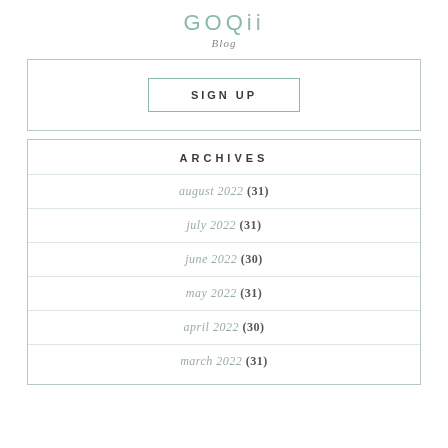GOQii Blog
SIGN UP
ARCHIVES
august 2022 (31)
july 2022 (31)
june 2022 (30)
may 2022 (31)
april 2022 (30)
march 2022 (31)